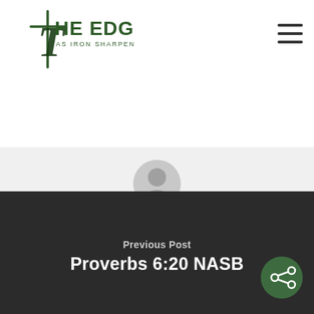[Figure (logo): The Edge logo — stylized cross with 'THE EDGE / AS IRON SHARPENS IRON' text in dark green]
[Figure (illustration): Hamburger/menu icon — three horizontal lines]
[Figure (illustration): Generic user profile avatar icon in grey]
Be The Edge
Previous Post
Proverbs 6:20 NASB
[Figure (illustration): Green circular share button with share icon]